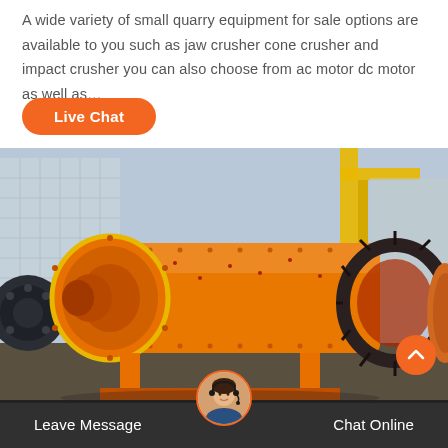A wide variety of small quarry equipment for sale options are available to you such as jaw crusher cone crusher and impact crusher you can also choose from ac motor dc motor as well as…
[Figure (other): Orange ball mill industrial quarry equipment photographed outdoors, with yellow mechanical gears and black motor components visible]
Leave Message
Chat Online